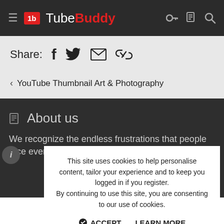TubeBuddy
Share:
< YouTube Thumbnail Art & Photography
About us
We recognize the endless frustrations that people face every
This site uses cookies to help personalise content, tailor your experience and to keep you logged in if you register.
By continuing to use this site, you are consenting to our use of cookies.
ACCEPT   LEARN MORE